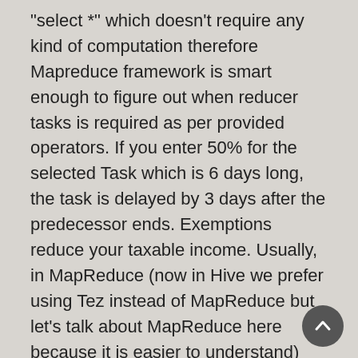"select *" which doesn't require any kind of computation therefore Mapreduce framework is smart enough to figure out when reducer tasks is required as per provided operators. If you enter 50% for the selected Task which is 6 days long, the task is delayed by 3 days after the predecessor ends. Exemptions reduce your taxable income. Usually, in MapReduce (now in Hive we prefer using Tez instead of MapReduce but let's talk about MapReduce here because it is easier to understand) your job will have the following steps: Map -> Shuffle -> Reduce. Step 1 в€' Download Hadoop-core-1.2.1.jar, which is used to compile and execute the MapReduce program. This allows transparent but totally flexible map/reduce functionality. For example, jar word_count.jar com.home.wc.WordCount /input /output \ -D mapred.reduce.tasks = 20. List a Social Security